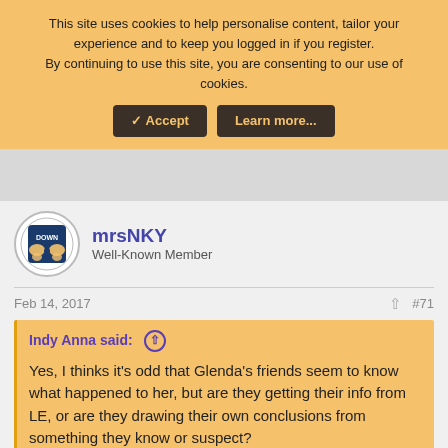This site uses cookies to help personalise content, tailor your experience and to keep you logged in if you register.
By continuing to use this site, you are consenting to our use of cookies.
Accept | Learn more...
mrsNKY
Well-Known Member
Feb 14, 2017   #71
Indy Anna said: ↑
Yes, I thinks it's odd that Glenda's friends seem to know what happened to her, but are they getting their info from LE, or are they drawing their own conclusions from something they know or suspect?